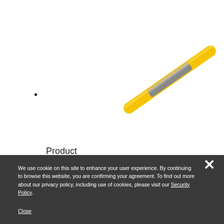[Figure (photo): A yellow plastic tire lever / pry bar tool photographed diagonally on a white background. The tool is elongated, yellow with a metallic/gray middle section.]
•
Product
We use cookie on this site to enhance your user experience. By continuing to browse this website, you are confirming your agreement. To find out more about our privacy policy, including use of cookies, please visit our Security Policy.
Close